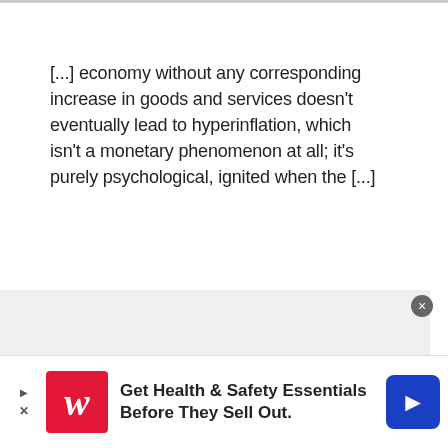[...] economy without any corresponding increase in goods and services doesn't eventually lead to hyperinflation, which isn't a monetary phenomenon at all; it's purely psychological, ignited when the [...]
[...] 18 Curious Facts You Didn't Know
[Figure (other): Advertisement banner for Walgreens: Get Health & Safety Essentials Before They Sell Out.]